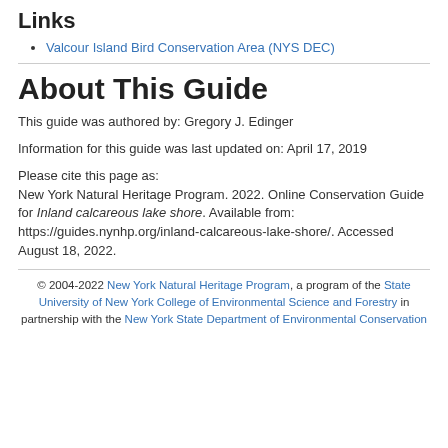Links
Valcour Island Bird Conservation Area (NYS DEC)
About This Guide
This guide was authored by: Gregory J. Edinger
Information for this guide was last updated on: April 17, 2019
Please cite this page as:
New York Natural Heritage Program. 2022. Online Conservation Guide for Inland calcareous lake shore. Available from: https://guides.nynhp.org/inland-calcareous-lake-shore/. Accessed August 18, 2022.
© 2004-2022 New York Natural Heritage Program, a program of the State University of New York College of Environmental Science and Forestry in partnership with the New York State Department of Environmental Conservation